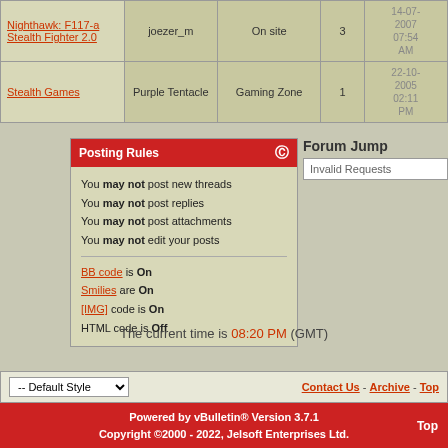| Topic | Author | Forum | Replies | Last Post |
| --- | --- | --- | --- | --- |
| Nighthawk: F117-a Stealth Fighter 2.0 | joezer_m | On site | 3 | 14-07-2007 07:54 AM |
| Stealth Games | Purple Tentacle | Gaming Zone | 1 | 22-10-2005 02:11 PM |
Posting Rules
You may not post new threads
You may not post replies
You may not post attachments
You may not edit your posts
BB code is On
Smilies are On
[IMG] code is On
HTML code is Off
Forum Jump
Invalid Requests
The current time is 08:20 PM (GMT)
-- Default Style
Contact Us - Archive - Top
Powered by vBulletin® Version 3.7.1 Copyright ©2000 - 2022, Jelsoft Enterprises Ltd.